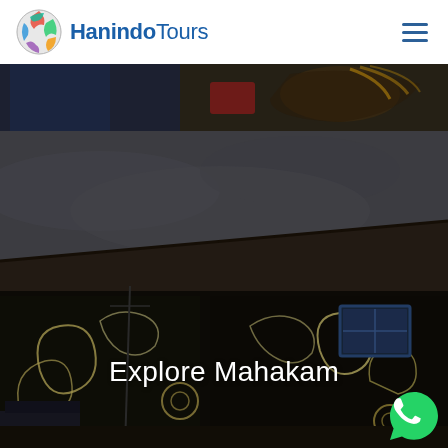HanindoTours
[Figure (photo): Partial dark photo showing a decorative mask or cultural artifact with red and golden details on a dark background]
[Figure (photo): Photo of a traditional Dayak longhouse building with ornate black and gold scrollwork decorations on the facade, blue window trim, cloudy grey sky background. Text overlay reads 'Explore Mahakam'.]
Explore Mahakam